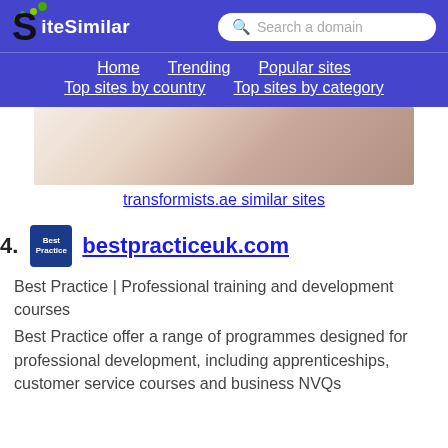SiteSimilar — Search a domain — Home | Trending | Popular sites | Top sites by country | Top sites by category
[Figure (photo): Photograph of a woman with long brown hair, appears to be a beauty/spa image, associated with transformists.ae]
transformists.ae similar sites
44. bestpracticeuk.com
Best Practice | Professional training and development courses
Best Practice offer a range of programmes designed for professional development, including apprenticeships, customer service courses and business NVQs